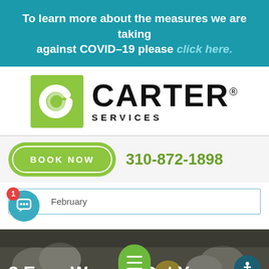To learn more about the measures we are taking against COVID-19 please click here.
[Figure (logo): Carter Services logo with green C icon and black CARTER SERVICES text]
BOOK NOW    310-872-1898
February
[Figure (photo): Bottom image strip showing HVAC units with text '3 Easy Wa...o Get Your']